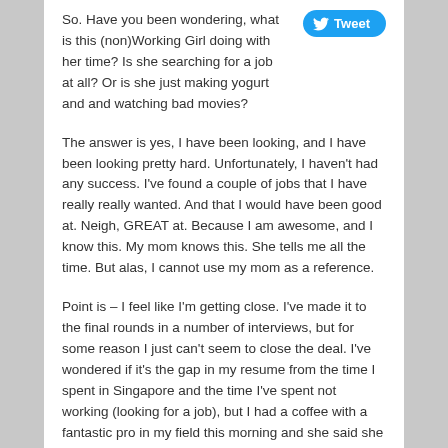So. Have you been wondering, what is this (non)Working Girl doing with her time? Is she searching for a job at all? Or is she just making yogurt and and watching bad movies?
The answer is yes, I have been looking, and I have been looking pretty hard. Unfortunately, I haven't had any success. I've found a couple of jobs that I have really really wanted. And that I would have been good at. Neigh, GREAT at. Because I am awesome, and I know this. My mom knows this. She tells me all the time. But alas, I cannot use my mom as a reference.
Point is – I feel like I'm getting close. I've made it to the final rounds in a number of interviews, but for some reason I just can't seem to close the deal. I've wondered if it's the gap in my resume from the time I spent in Singapore and the time I've spent not working (looking for a job), but I had a coffee with a fantastic pro in my field this morning and she said she didn't think that was the